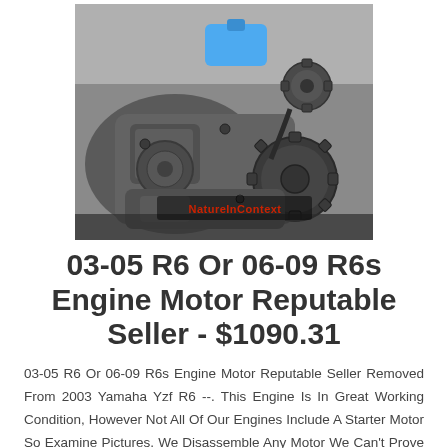[Figure (photo): Photo of a used motorcycle engine (Yamaha YZF R6 / R6s) with gears and sprockets visible, a blue tag attached, and a watermark reading 'NatureInContext' in the lower right area. Engine is grey and worn, placed on a dark surface.]
03-05 R6 Or 06-09 R6s Engine Motor Reputable Seller - $1090.31
03-05 R6 Or 06-09 R6s Engine Motor Reputable Seller Removed From 2003 Yamaha Yzf R6 --. This Engine Is In Great Working Condition, However Not All Of Our Engines Include A Starter Motor So Examine Pictures. We Disassemble Any Motor We Can't Prove Works